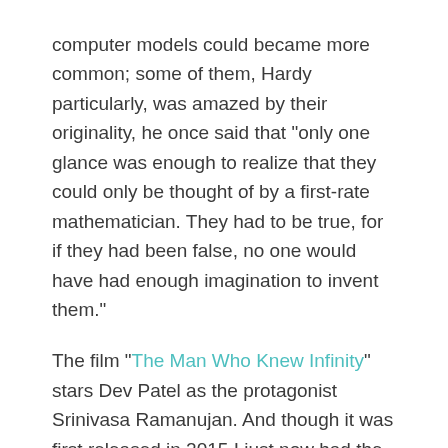computer models could became more common; some of them, Hardy particularly, was amazed by their originality, he once said that "only one glance was enough to realize that they could only be thought of by a first-rate mathematician. They had to be true, for if they had been false, no one would have had enough imagination to invent them."
The film "The Man Who Knew Infinity" stars Dev Patel as the protagonist Srinivasa Ramanujan. And though it was first released in 2015 I just now had the chance to see it. For an actor to interpret this role must have been a challenge both professionally and personally since Dev makes you believe that these impossible calculations are pouring from inside.
This film tells of a story, the full story, of his success and